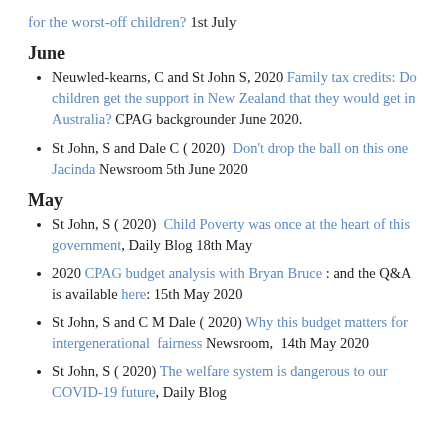for the worst-off children? 1st July
June
Neuwled-kearns, C and St John S, 2020 Family tax credits: Do children get the support in New Zealand that they would get in Australia? CPAG backgrounder June 2020.
St John, S and Dale C ( 2020)  Don't drop the ball on this one Jacinda Newsroom 5th June 2020
May
St John, S ( 2020)  Child Poverty was once at the heart of this government, Daily Blog 18th May
2020 CPAG budget analysis with Bryan Bruce : and the Q&A is available here: 15th May 2020
St John, S and C M Dale ( 2020) Why this budget matters for intergenerational  fairness Newsroom,  14th May 2020
St John, S ( 2020) The welfare system is dangerous to our COVID-19 future, Daily Blog